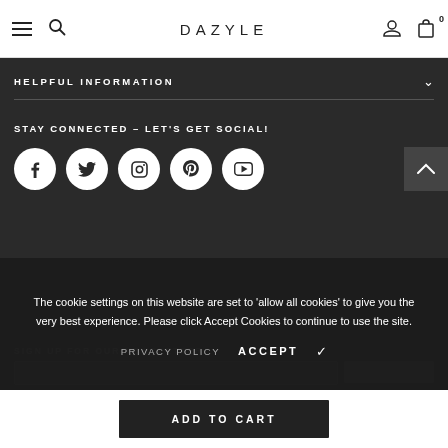DAZYLE
HELPFUL INFORMATION
STAY CONNECTED – LET'S GET SOCIAL!
[Figure (infographic): Social media icon buttons in white circles: Facebook, Twitter, Instagram, Pinterest, YouTube]
The cookie settings on this website are set to 'allow all cookies' to give you the very best experience. Please click Accept Cookies to continue to use the site.
PRIVACY POLICY   ACCEPT ✔
SIGN UP FOR OUR NEWSLETTER
ADD TO CART